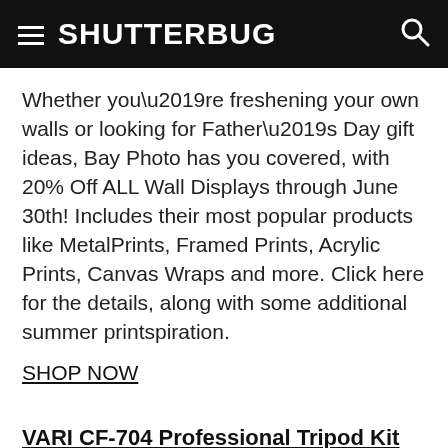SHUTTERBUG
Whether you’re freshening your own walls or looking for Father’s Day gift ideas, Bay Photo has you covered, with 20% Off ALL Wall Displays through June 30th! Includes their most popular products like MetalPrints, Framed Prints, Acrylic Prints, Canvas Wraps and more. Click here for the details, along with some additional summer printspiration.
SHOP NOW
VARI CF-704 Professional Tripod Kit by SLIK Tripods & Heads